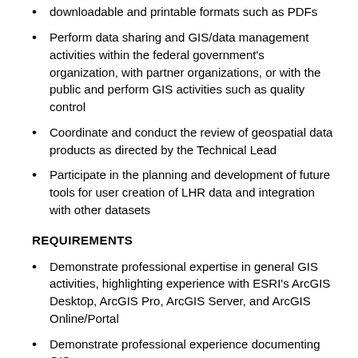downloadable and printable formats such as PDFs
Perform data sharing and GIS/data management activities within the federal government's organization, with partner organizations, or with the public and perform GIS activities such as quality control
Coordinate and conduct the review of geospatial data products as directed by the Technical Lead
Participate in the planning and development of future tools for user creation of LHR data and integration with other datasets
REQUIREMENTS
Demonstrate professional expertise in general GIS activities, highlighting experience with ESRI's ArcGIS Desktop, ArcGIS Pro, ArcGIS Server, and ArcGIS Online/Portal
Demonstrate professional experience documenting GIS